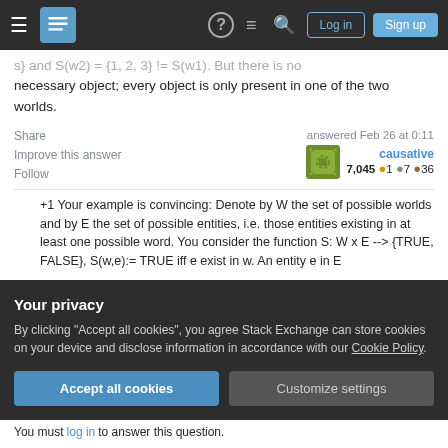Stack Exchange navigation bar with Log in and Sign up buttons
s} and S(w2) = {1, 2, 3} != S(w1). But there is no necessary object; every object is only present in one of the two worlds.
Share  Improve this answer  Follow
answered Feb 26 at 0:11
causative
7,045 ●1 ●7 ●36
+1 Your example is convincing: Denote by W the set of possible worlds and by E the set of possible entities, i.e. those entities existing in at least one possible word. You consider the function S: W x E --> {TRUE, FALSE}, S(w,e):= TRUE iff e exist in w. An entity e in E
Your privacy
By clicking "Accept all cookies", you agree Stack Exchange can store cookies on your device and disclose information in accordance with our Cookie Policy.
Accept all cookies  Customize settings
You must log in to answer this question.